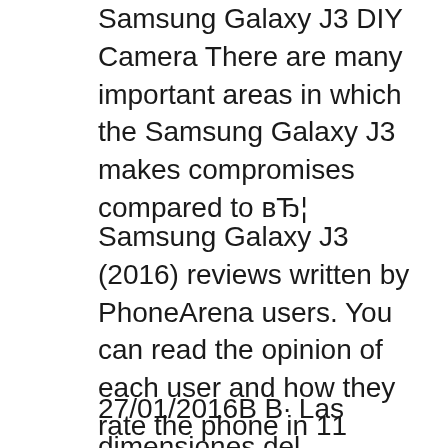Samsung Galaxy J3 DIY Camera There are many important areas in which the Samsung Galaxy J3 makes compromises compared to вЂ¦
Samsung Galaxy J3 (2016) reviews written by PhoneArena users. You can read the opinion of each user and how they rate the phone in 11 categories. Samsung Galaxy J3 (2016) reviews вЂ¦ 02/10/2017В В· Samsung Galaxy J3 (2016) Android smartphone. Announced Nov 2015. Features 5.0вЂi Super AMOLED display, Spreadtrum SC9830 chipset, 8 MP primary camera, 5 вЂ¦
27/01/2016В В· Las dimensiones del Samsung Galaxy J3 son: 71,4 mm de